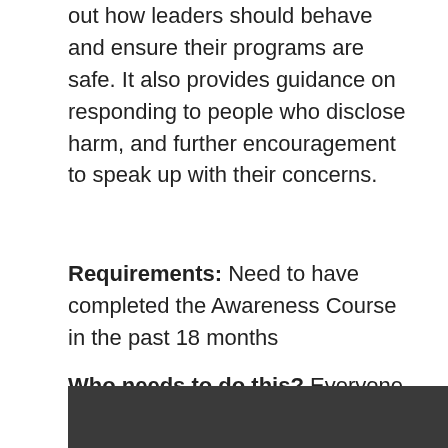out how leaders should behave and ensure their programs are safe. It also provides guidance on responding to people who disclose harm, and further encouragement to speak up with their concerns.
Requirements: Need to have completed the Awareness Course in the past 18 months
Who needs to do this? Everyone who volunteers at NBC.
[Figure (other): Dark grey/charcoal banner bar at bottom of page]